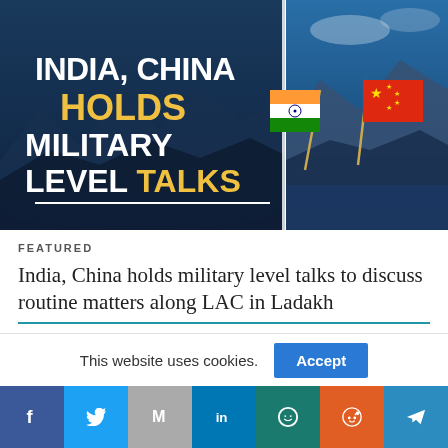[Figure (illustration): Split image: left side shows dark blue background with text 'INDIA, CHINA HOLDS MILITARY LEVEL TALKS' in white and gold bold letters; right side shows Indian and Chinese flags crossed against a mountain/lake backdrop.]
FEATURED
India, China holds military level talks to discuss routine matters along LAC in Ladakh
This website uses cookies.
Accept